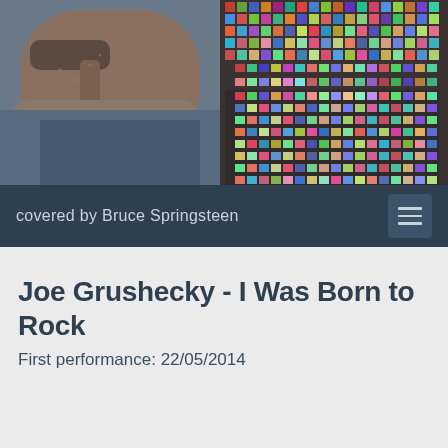[Figure (photo): Close-up photo of Bruce Springsteen's face and upper body, wearing a denim jacket, with a colorful mosaic pattern in the background on the right side]
covered by Bruce Springsteen
Joe Grushecky - I Was Born to Rock
First performance: 22/05/2014